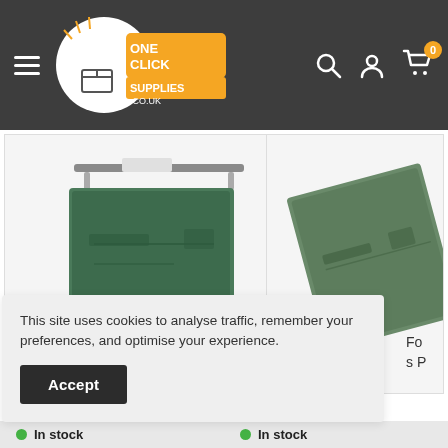[Figure (screenshot): OneClick Supplies website navigation bar with hamburger menu, logo, search icon, user icon, and cart icon with badge showing 0]
[Figure (photo): Green hanging file folder product image (left, main)]
[Figure (photo): Green hanging file folder product image (right, partial)]
This site uses cookies to analyse traffic, remember your preferences, and optimise your experience.
Accept
Fo
s P
In stock
In stock